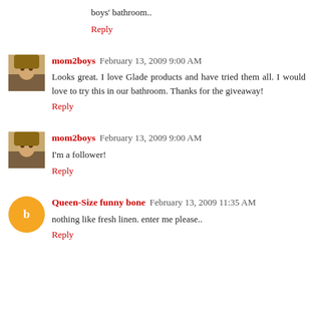boys' bathroom..
Reply
mom2boys  February 13, 2009 9:00 AM
Looks great. I love Glade products and have tried them all. I would love to try this in our bathroom. Thanks for the giveaway!
Reply
mom2boys  February 13, 2009 9:00 AM
I'm a follower!
Reply
Queen-Size funny bone  February 13, 2009 11:35 AM
nothing like fresh linen. enter me please..
Reply